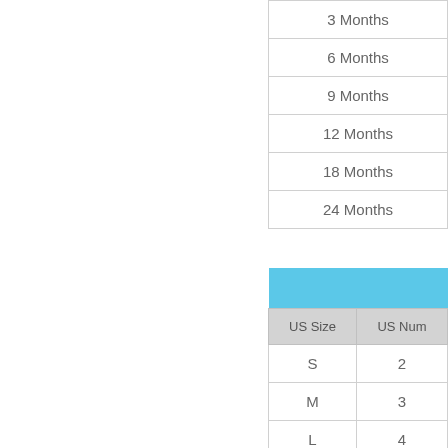| Duration |  |
| --- | --- |
| 3 Months |  |
| 6 Months |  |
| 9 Months |  |
| 12 Months |  |
| 18 Months |  |
| 24 Months |  |
| US Size | US Num |
| --- | --- |
| S | 2 |
| M | 3 |
| L | 4 |
| S |  |